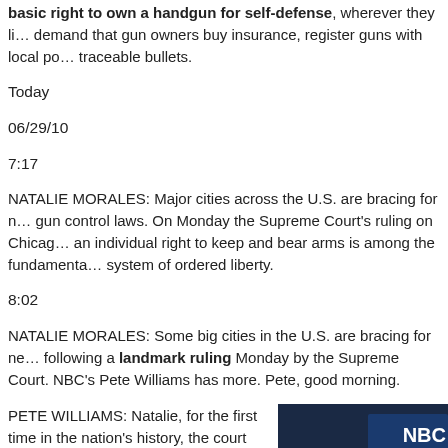basic right to own a handgun for self-defense, wherever they live — demand that gun owners buy insurance, register guns with local po... traceable bullets.
Today
06/29/10
7:17
NATALIE MORALES: Major cities across the U.S. are bracing for n... gun control laws. On Monday the Supreme Court's ruling on Chica... an individual right to keep and bear arms is among the fundamenta... system of ordered liberty.
8:02
NATALIE MORALES: Some big cities in the U.S. are bracing for ne... following a landmark ruling Monday by the Supreme Court. NBC's Pete Williams has more. Pete, good morning.
PETE WILLIAMS: Natalie, for the first time in the nation's history, the court said the Second Amendment, the right to bear arms, limits what state
[Figure (screenshot): NBC News broadcast screenshot with dark blue/navy background and NBC logo text visible in upper right area]